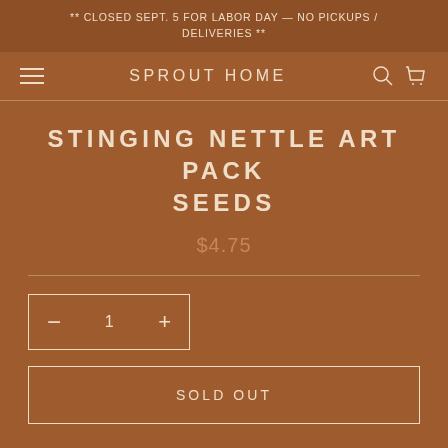** CLOSED SEPT. 5 FOR LABOR DAY — NO PICKUPS / DELIVERIES **
SPROUT HOME
STINGING NETTLE ART PACK SEEDS
$4.75
1
SOLD OUT